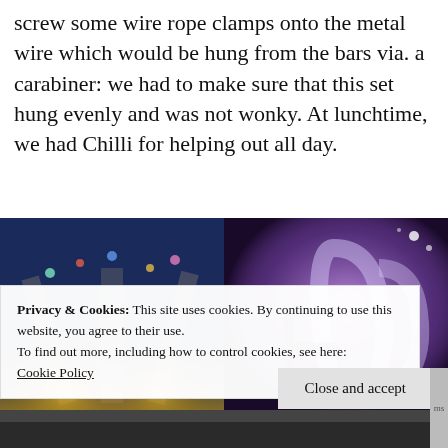screw some wire rope clamps onto the metal wire which would be hung from the bars via. a carabiner: we had to make sure that this set hung evenly and was not wonky. At lunchtime, we had Chilli for helping out all day.
[Figure (photo): Stage/theatre scene with colorful hanging decorations, blue and yellow stage lighting from below, dark background]
[Figure (photo): Purple/violet lit stage with large curved prop letters or set pieces partially visible through haze/smoke]
Privacy & Cookies: This site uses cookies. By continuing to use this website, you agree to their use.
To find out more, including how to control cookies, see here:
Cookie Policy
Close and accept
[Figure (photo): Partial view of dark scene at bottom of page]